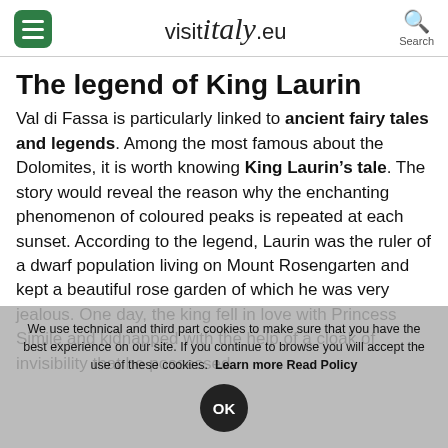visit italy .eu
The legend of King Laurin
Val di Fassa is particularly linked to ancient fairy tales and legends. Among the most famous about the Dolomites, it is worth knowing King Laurin’s tale. The story would reveal the reason why the enchanting phenomenon of coloured peaks is repeated at each sunset. According to the legend, Laurin was the ruler of a dwarf population living on Mount Rosengarten and kept a beautiful rose garden of which he was very jealous. One day, the king fell in love with Princess Simile and kidnapped with the help of a cloak of invisibility that he possessed
We use technical and third part cookies to make sure that you have the best experience on our site. If you continue to browse you will accept the use of these cookies. Learn more Read Policy OK